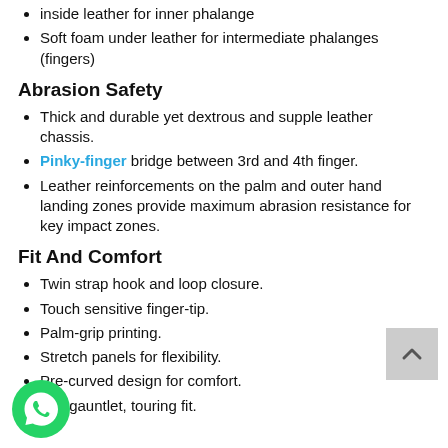inside leather for inner phalange
Soft foam under leather for intermediate phalanges (fingers)
Abrasion Safety
Thick and durable yet dextrous and supple leather chassis.
Pinky-finger bridge between 3rd and 4th finger.
Leather reinforcements on the palm and outer hand landing zones provide maximum abrasion resistance for key impact zones.
Fit And Comfort
Twin strap hook and loop closure.
Touch sensitive finger-tip.
Palm-grip printing.
Stretch panels for flexibility.
Pre-curved design for comfort.
Full-gauntlet, touring fit.
[Figure (logo): WhatsApp green phone icon button at bottom left]
[Figure (other): Grey back-to-top button with upward chevron at bottom right]